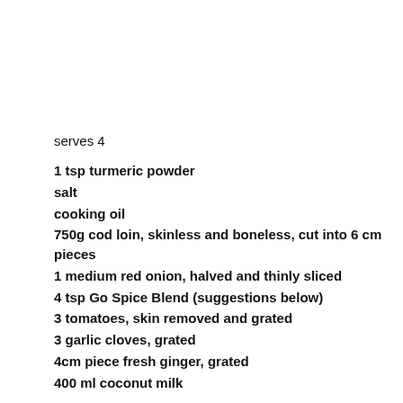serves 4
1 tsp turmeric powder
salt
cooking oil
750g cod loin, skinless and boneless, cut into 6 cm pieces
1 medium red onion, halved and thinly sliced
4 tsp Go Spice Blend (suggestions below)
3 tomatoes, skin removed and grated
3 garlic cloves, grated
4cm piece fresh ginger, grated
400 ml coconut milk